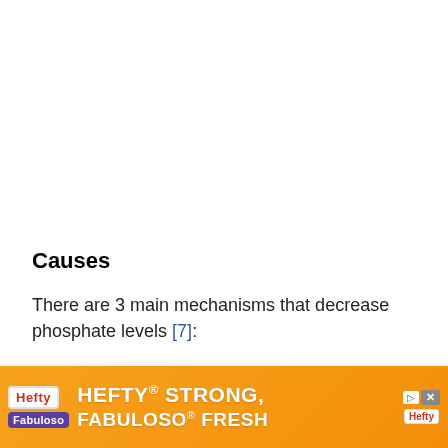Causes
There are 3 main mechanisms that decrease phosphate levels [7]:
(1) inadequate phosphate intake and/or absorption
(2) [obscured by advertisement]
(3) [obscured by advertisement]
[Figure (other): Advertisement banner for Hefty and Fabuloso products reading 'HEFTY STRONG, FABULOSO FRESH']